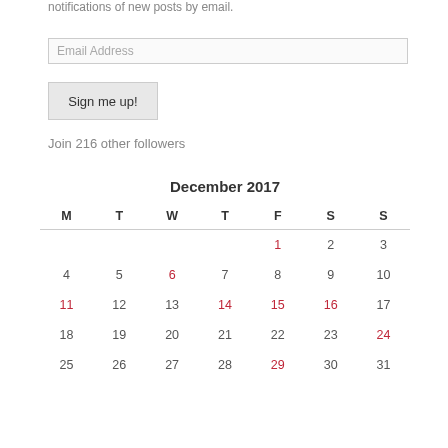notifications of new posts by email.
Email Address
Sign me up!
Join 216 other followers
| M | T | W | T | F | S | S |
| --- | --- | --- | --- | --- | --- | --- |
|  |  |  |  | 1 | 2 | 3 |
| 4 | 5 | 6 | 7 | 8 | 9 | 10 |
| 11 | 12 | 13 | 14 | 15 | 16 | 17 |
| 18 | 19 | 20 | 21 | 22 | 23 | 24 |
| 25 | 26 | 27 | 28 | 29 | 30 | 31 |